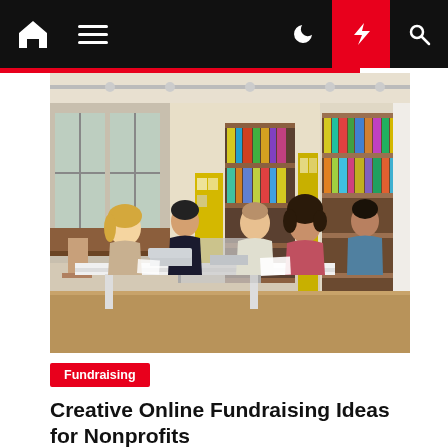Navigation bar with home, menu, moon, lightning, and search icons
[Figure (photo): People sitting around a table in a library, working together with laptops and papers, bookshelves visible in background]
Fundraising
Creative Online Fundraising Ideas for Nonprofits
Marion Steward  6 months ago